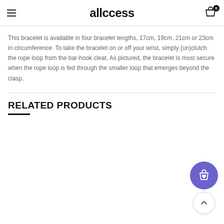allccess
This bracelet is available in four bracelet lengths, 17cm, 19cm, 21cm or 23cm in circumference. To take the bracelet on or off your wrist, simply (un)clutch the rope loop from the bar-hook cleat. As pictured, the bracelet is most secure when the rope loop is fed through the smaller loop that emerges beyond the clasp.
RELATED PRODUCTS
[Figure (other): Floating wishlist/cart button (purple circle with shopping bag and heart icon) and scroll-to-top button (white circle with up arrow)]